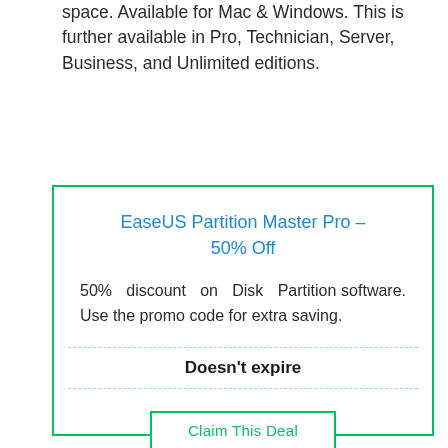space. Available for Mac & Windows. This is further available in Pro, Technician, Server, Business, and Unlimited editions.
EaseUS Partition Master Pro – 50% Off
50% discount on Disk Partition software. Use the promo code for extra saving.
Doesn't expire
Claim This Deal